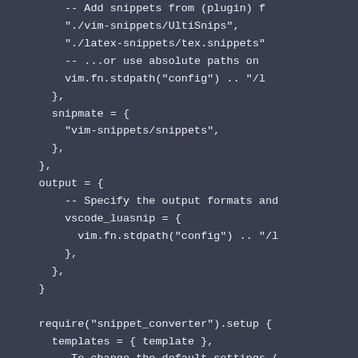[Figure (screenshot): Code editor screenshot showing Lua configuration code for a snippet converter plugin, with dark background (dark blue-grey). The code shows snippet source paths, snapmate config, output config, and a require call for snippet_converter setup.]